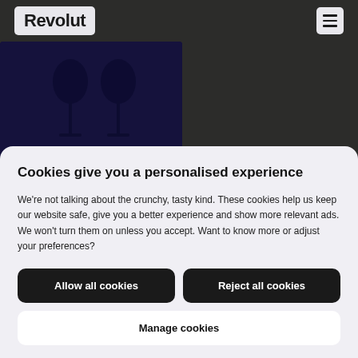Revolut
[Figure (photo): Dark navy photo showing two wine glasses silhouetted against a deep purple/indigo background]
Cookies give you a personalised experience
We're not talking about the crunchy, tasty kind. These cookies help us keep our website safe, give you a better experience and show more relevant ads. We won't turn them on unless you accept. Want to know more or adjust your preferences?
Allow all cookies
Reject all cookies
Manage cookies